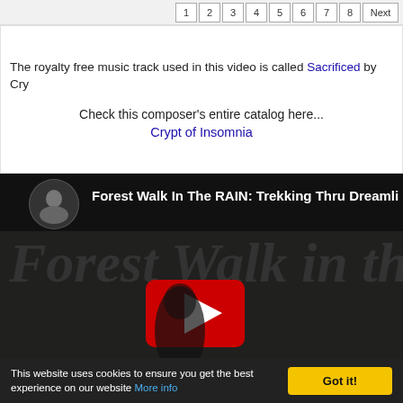1 2 3 4 5 6 7 8 Next
The royalty free music track used in this video is called Sacrificed by Cry...
Check this composer's entire catalog here...
Crypt of Insomnia
[Figure (screenshot): YouTube video thumbnail showing a dark forest scene with a robed figure, titled 'Forest Walk In The RAIN: Trekking Thru Dreamli...' with a red YouTube play button overlay and a circular channel avatar in the top left.]
This website uses cookies to ensure you get the best experience on our website More info Got it!